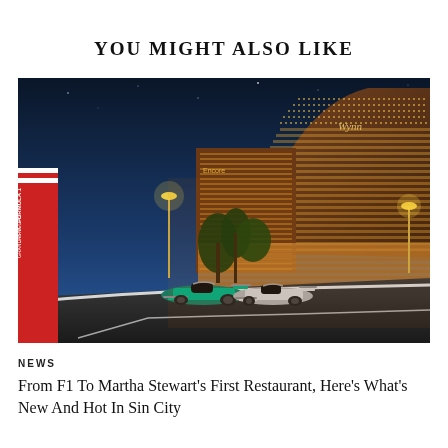YOU MIGHT ALSO LIKE
[Figure (photo): F1 racing cars on a night circuit in front of the illuminated Wynn Las Vegas hotel and casino]
NEWS
From F1 To Martha Stewart's First Restaurant, Here's What's New And Hot In Sin City...